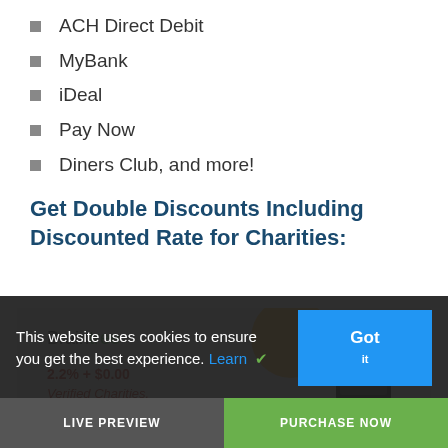ACH Direct Debit
MyBank
iDeal
Pay Now
Diners Club, and more!
Get Double Discounts Including Discounted Rate for Charities:
[Figure (screenshot): Braintree payment platform screenshot showing logo, phone device mockup, yellow circle graphic, price text and 'Verified Charities' text]
This website uses cookies to ensure you get the best experience. Learn
Got
LIVE PREVIEW
PURCHASE NOW